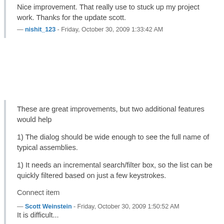Nice improvement. That really use to stuck up my project work. Thanks for the update scott.
— nishit_123 - Friday, October 30, 2009 1:33:42 AM
These are great improvements, but two additional features would help
1) The dialog should be wide enough to see the full name of typical assemblies.
1) It needs an incremental search/filter box, so the list can be quickly filtered based on just a few keystrokes.
Connect item
— Scott Weinstein - Friday, October 30, 2009 1:50:52 AM
It is difficult...